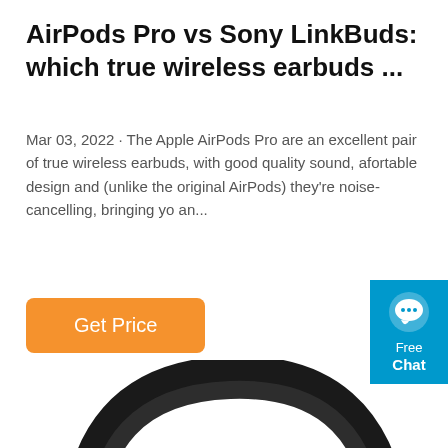AirPods Pro vs Sony LinkBuds: which true wireless earbuds ...
Mar 03, 2022 · The Apple AirPods Pro are an excellent pair of true wireless earbuds, with good quality sound, afortable design and (unlike the original AirPods) they're noise-cancelling, bringing yo an...
[Figure (other): Orange 'Get Price' button]
[Figure (other): Blue chat widget with speech bubble icon, labeled 'Free Chat']
[Figure (photo): Photo of Sony LinkBuds headphones headband, black with gold/bronze metal connector, shown on white background]